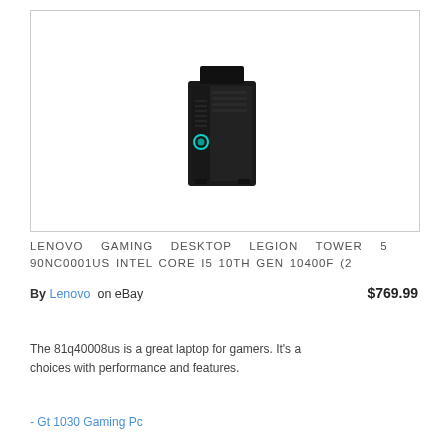[Figure (photo): Lenovo Legion Tower 5 gaming desktop PC — black tower with teal/cyan circular logo on front panel]
LENOVO GAMING DESKTOP LEGION TOWER 5 90NC0001US INTEL CORE I5 10TH GEN 10400F (2
By Lenovo  on eBay    $769.99
The 81q40008us is a great laptop for gamers. It's a choices with performance and features.
- Gt 1030 Gaming Pc